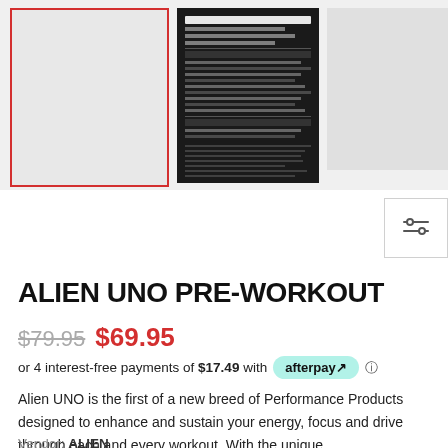[Figure (photo): Product image gallery row showing three thumbnail images: main product image with red border, nutrition facts label on dark background, and a third product image]
[Figure (other): Filter/sort icon button in top right area]
ALIEN UNO PRE-WORKOUT
$79.95 $69.95
or 4 interest-free payments of $17.49 with afterpay
Alien UNO is the first of a new breed of Performance Products designed to enhance and sustain your energy, focus and drive through each and every workout. With the unique...
Vendor: ALIEN